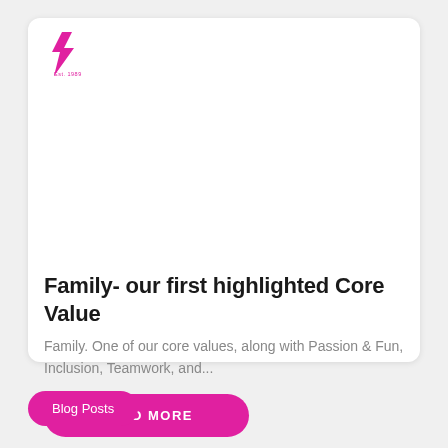[Figure (logo): Company logo: pink lightning bolt icon with 'Est. 1989' text below]
Family- our first highlighted Core Value
Family.  One of our core values, along with Passion & Fun, Inclusion, Teamwork, and...
READ MORE
Blog Posts